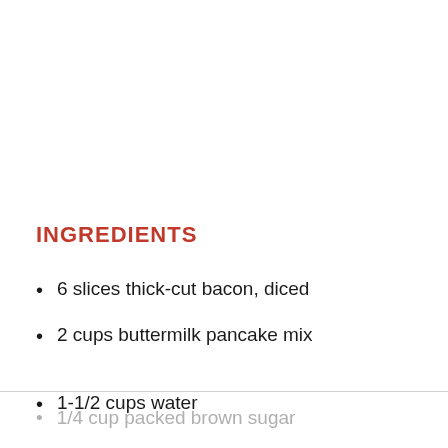INGREDIENTS
6 slices thick-cut bacon, diced
2 cups buttermilk pancake mix
1-1/2 cups water
1/4 cup packed brown sugar